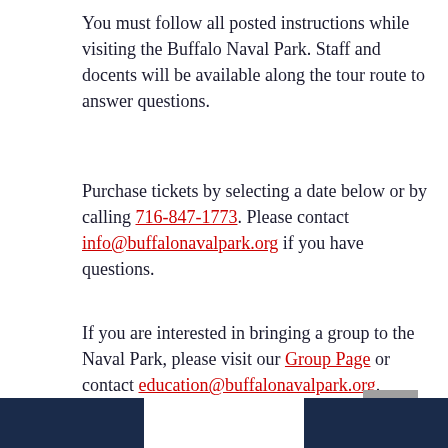You must follow all posted instructions while visiting the Buffalo Naval Park. Staff and docents will be available along the tour route to answer questions.
Purchase tickets by selecting a date below or by calling 716-847-1773. Please contact info@buffalonavalpark.org if you have questions.
If you are interested in bringing a group to the Naval Park, please visit our Group Page or contact education@buffalonavalpark.org.
BUY TICKETS